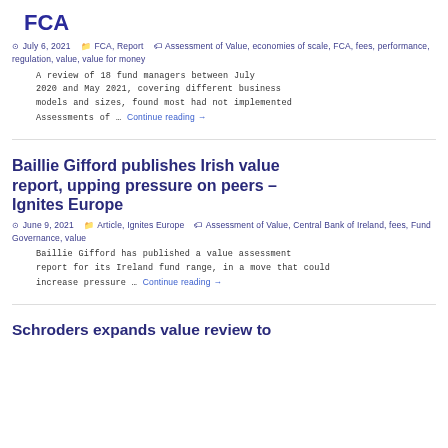FCA
July 6, 2021  FCA, Report  Assessment of Value, economies of scale, FCA, fees, performance, regulation, value, value for money
A review of 18 fund managers between July 2020 and May 2021, covering different business models and sizes, found most had not implemented Assessments of … Continue reading →
Baillie Gifford publishes Irish value report, upping pressure on peers – Ignites Europe
June 9, 2021  Article, Ignites Europe  Assessment of Value, Central Bank of Ireland, fees, Fund Governance, value
Baillie Gifford has published a value assessment report for its Ireland fund range, in a move that could increase pressure … Continue reading →
Schroders expands value review to